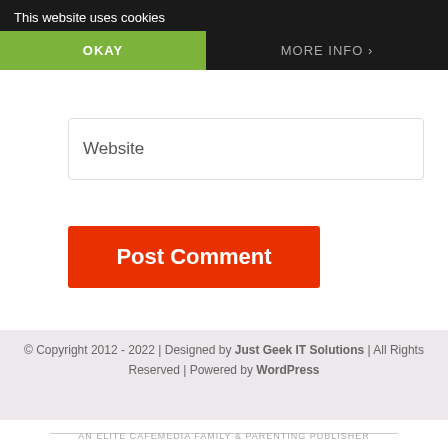This website uses cookies
OKAY
MORE INFO
Email (required)
Website
Post Comment
© Copyright 2012 - 2022 | Designed by Just Geek IT Solutions | All Rights Reserved | Powered by WordPress
AN ELITE CAFEMEDIA FAMILY & PARENTING PUBLISHER